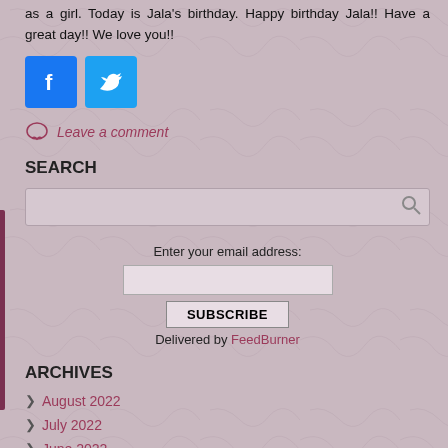as a girl. Today is Jala's birthday. Happy birthday Jala!! Have a great day!! We love you!!
[Figure (illustration): Facebook and Twitter social media share buttons]
Leave a comment
SEARCH
[Figure (other): Search input box with magnifying glass icon]
Enter your email address:
[Figure (other): Email subscription form with input field, SUBSCRIBE button, and Delivered by FeedBurner link]
ARCHIVES
August 2022
July 2022
June 2022
May 2022
April 2022